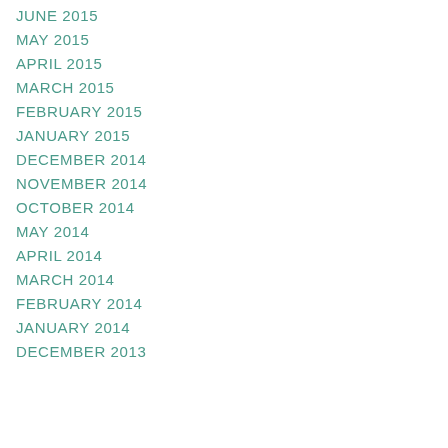JUNE 2015
MAY 2015
APRIL 2015
MARCH 2015
FEBRUARY 2015
JANUARY 2015
DECEMBER 2014
NOVEMBER 2014
OCTOBER 2014
MAY 2014
APRIL 2014
MARCH 2014
FEBRUARY 2014
JANUARY 2014
DECEMBER 2013